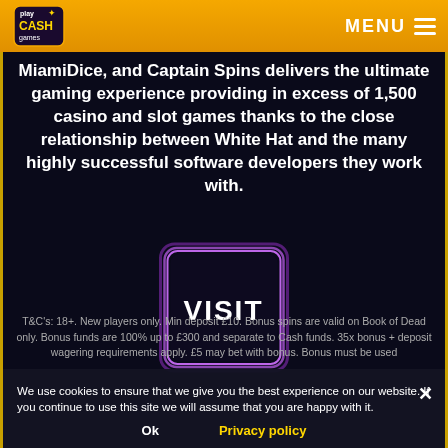[Figure (logo): Play Cash Games logo on golden/amber header bar with hamburger menu icon and MENU text on the right]
MiamiDice, and Captain Spins delivers the ultimate gaming experience providing in excess of 1,500 casino and slot games thanks to the close relationship between White Hat and the many highly successful software developers they work with.
[Figure (other): VISIT button with purple neon glowing square border on dark background]
T&C's: 18+. New players only. Min deposit £10. Bonus spins are valid on Book of Dead only. Bonus funds are 100% up to £300 and separate to Cash funds. 35x bonus + deposit wagering requirements apply. £5 may bet with bonus. Bonus must be used
We use cookies to ensure that we give you the best experience on our website. If you continue to use this site we will assume that you are happy with it.
Ok
Privacy policy